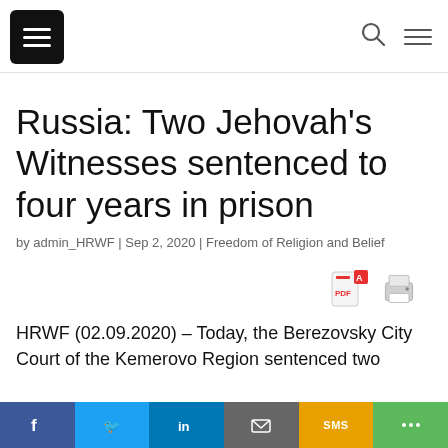[Figure (other): Hamburger menu icon — white lines on black square background]
[Figure (other): Search icon (magnifying glass circle) and hamburger menu icon in nav bar]
Russia: Two Jehovah's Witnesses sentenced to four years in prison
by admin_HRWF | Sep 2, 2020 | Freedom of Religion and Belief
[Figure (other): PDF download icon and printer icon]
HRWF (02.09.2020) – Today, the Berezovsky City Court of the Kemerovo Region sentenced two
[Figure (other): Social share bar with Facebook, Twitter, LinkedIn, Email, SMS, and share icons]